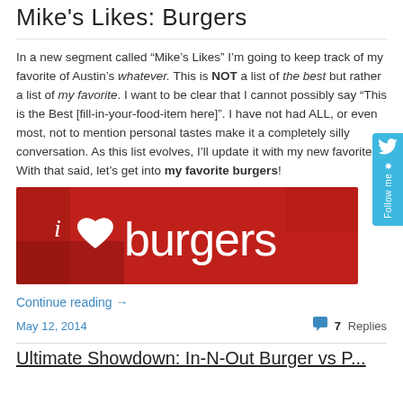Mike's Likes: Burgers
In a new segment called “Mike’s Likes” I’m going to keep track of my favorite of Austin’s whatever. This is NOT a list of the best but rather a list of my favorite. I want to be clear that I cannot possibly say “This is the Best [fill-in-your-food-item here]”. I have not had ALL, or even most, not to mention personal tastes make it a completely silly conversation. As this list evolves, I’ll update it with my new favorites. With that said, let’s get into my favorite burgers!
[Figure (photo): Red background image with white text reading 'i [heart] burgers']
Continue reading →
May 12, 2014
7 Replies
Ultimate Showdown: In-N-Out Burger vs P...